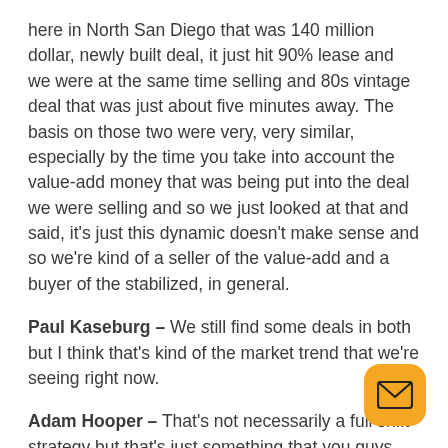here in North San Diego that was 140 million dollar, newly built deal, it just hit 90% lease and we were at the same time selling and 80s vintage deal that was just about five minutes away. The basis on those two were very, very similar, especially by the time you take into account the value-add money that was being put into the deal we were selling and so we just looked at that and said, it's just this dynamic doesn't make sense and so we're kind of a seller of the value-add and a buyer of the stabilized, in general.
Paul Kaseburg – We still find some deals in both but I think that's kind of the market trend that we're seeing right now.
Adam Hooper – That's not necessarily a full shift strategy but that's just something that you guys identified based off of the economic difference between